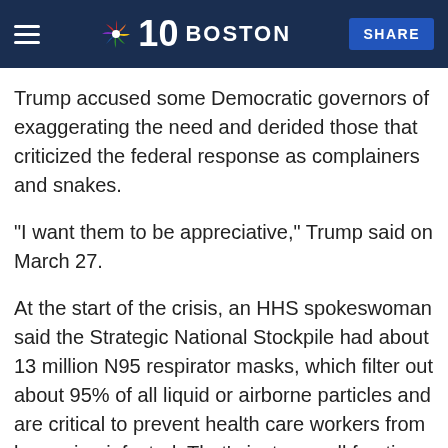NBC10 BOSTON | SHARE
Trump accused some Democratic governors of exaggerating the need and derided those that criticized the federal response as complainers and snakes.
"I want them to be appreciative," Trump said on March 27.
At the start of the crisis, an HHS spokeswoman said the Strategic National Stockpile had about 13 million N95 respirator masks, which filter out about 95% of all liquid or airborne particles and are critical to prevent health care workers from becoming infected. That's just a small fraction of what hospitals need to protect their workers, who normally would wear a new mask for each patient, but who now are often issued only one to last for days.